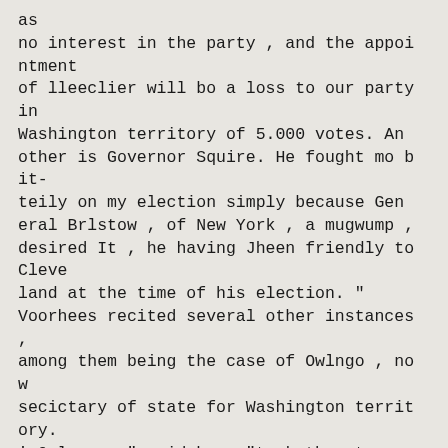as
no interest in the party , and the appointment
of lleeclier will bo a loss to our party in
Washington territory of 5.000 votes. Another is Governor Squire. He fought mo bit-
teily on my election simply because General Brlstow , of New York , a mugwump , desired It , he having Jheen friendly to Cleve
land at the time of his election. " Voorhees recited several other instances ,
among them being the case of Owlngo , now
secictary of state for Washington territory.
' Owlneo , " said he , "took the stump